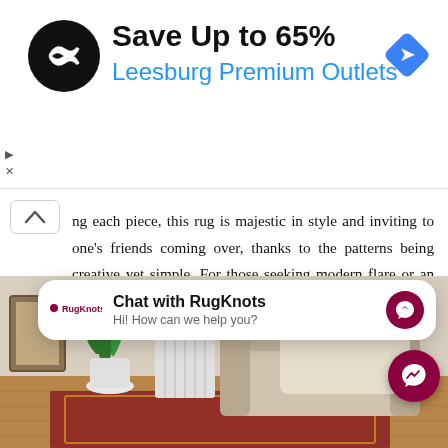[Figure (screenshot): Advertisement banner for Leesburg Premium Outlets showing black circular logo with infinity-like symbol, text 'Save Up to 65%' in bold black and 'Leesburg Premium Outlets' in blue, with a blue diamond navigation icon on the right.]
ng each piece, this rug is majestic in style and inviting to one's friends coming over, thanks to the patterns being creative yet simple. For those seeking modern flare or an unexpected pop of color for their apartment that traditional roots into today's trends while still holding onto rich traditional such as ivory, red hues, and gold accents, the ivory Ziegler area rug cannot be beaten in quality design.
[Figure (screenshot): Chat widget overlay showing RugKnots logo, bold text 'Chat with RugKnots', subtext 'Hi! How can we help you?', and a dark red messenger icon on the right.]
[Figure (photo): Interior room photo showing a couch with a blanket, a white potted plant, a radiator, wooden floor, and a colorful rug partially visible at the bottom.]